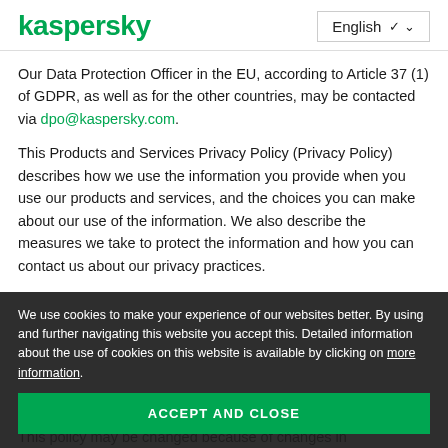kaspersky  English
Our Data Protection Officer in the EU, according to Article 37 (1) of GDPR, as well as for the other countries, may be contacted via dpo@kaspersky.com.
This Products and Services Privacy Policy (Privacy Policy) describes how we use the information you provide when you use our products and services, and the choices you can make about our use of the information. We also describe the measures we take to protect the information and how you can contact us about our privacy practices.
We use cookies to make your experience of our websites better. By using and further navigating this website you accept this. Detailed information about the use of cookies on this website is available by clicking on more information.
ACCEPT AND CLOSE
This policy may be changed because of changes in